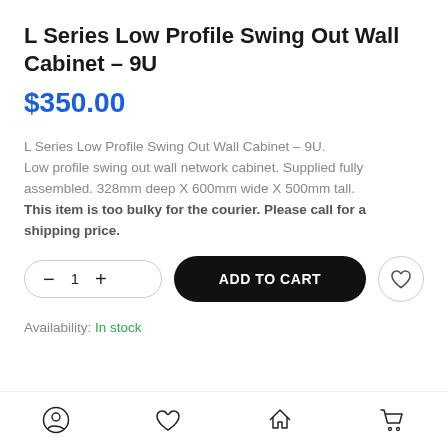L Series Low Profile Swing Out Wall Cabinet - 9U
$350.00
L Series Low Profile Swing Out Wall Cabinet - 9U. Low profile swing out wall network cabinet. Supplied fully assembled. 328mm deep X 600mm wide X 500mm tall. This item is too bulky for the courier. Please call for a shipping price.
Availability: In stock
Navigation bar with account, wishlist, home, and cart icons